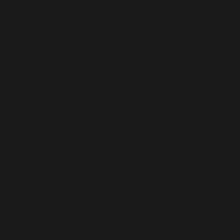[Figure (screenshot): Top portion showing a code block with green closing brace on dark background]
HTML Code
The [html] tag allows you to perform syntax highlighting for HTML code.
| Usage | [html]value[/html] |
| Example Usage | [html]
<img src="image.gif" alt="image" />
<a href="testing.html"
target="_blank">Testing</a>
[/html] |
| Example Output | HTML Code:
<img src="image.gif" alt="image"
<a href="testing.html" target="_b |
Quote
The [quote] tag allows you to attribute text to someone else.
| Usage | [quote]Quote[/quote]
[quote=User Name]value[/quote] |